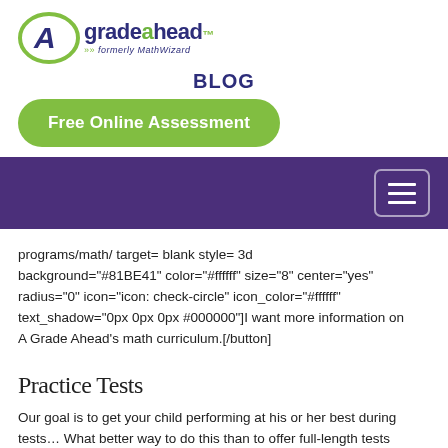[Figure (logo): A Grade Ahead logo with green oval around stylized A, dark blue text 'gradeahead' with green 'a', tagline '>> formerly MathWizard']
BLOG
[Figure (other): Green rounded button: 'Free Online Assessment']
[Figure (other): Purple navigation bar with hamburger menu icon on the right]
programs/math/ target= blank style= 3d background="#81BE41" color="#ffffff" size="8" center="yes" radius="0" icon="icon: check-circle" icon_color="#ffffff" text_shadow="0px 0px 0px #000000"]I want more information on A Grade Ahead's math curriculum.[/button]
Practice Tests
Our goal is to get your child performing at his or her best during tests... What better way to do this than to offer full-length tests